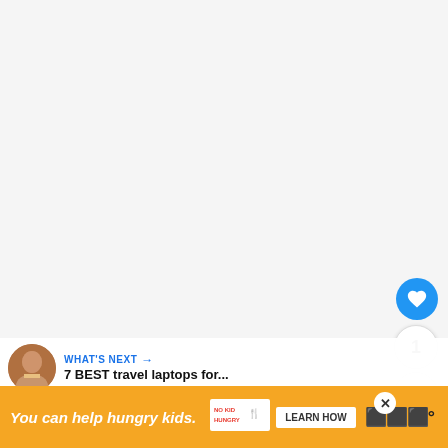[Figure (photo): Large white/light gray blank image area taking up the top portion of the page]
[Figure (photo): Circular heart favorite button (blue) floating on right side]
1
[Figure (other): Share button (circular, white with share icon) floating on right side]
WHAT'S NEXT → 7 BEST travel laptops for...
Top 5 best digital nomad insurance plans for long-term tr...
[Figure (other): Orange advertisement banner at bottom: You can help hungry kids. NO KID HUNGRY. LEARN HOW]
You can help hungry kids.